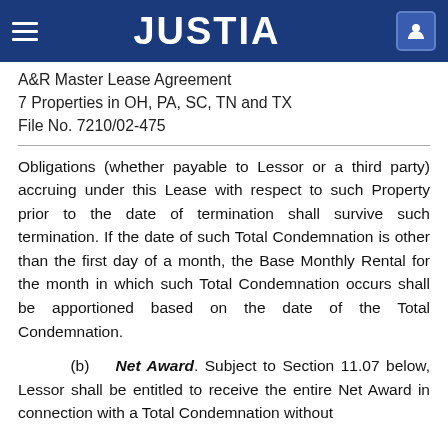JUSTIA
A&R Master Lease Agreement
7 Properties in OH, PA, SC, TN and TX
File No. 7210/02-475
Obligations (whether payable to Lessor or a third party) accruing under this Lease with respect to such Property prior to the date of termination shall survive such termination. If the date of such Total Condemnation is other than the first day of a month, the Base Monthly Rental for the month in which such Total Condemnation occurs shall be apportioned based on the date of the Total Condemnation.
(b) Net Award. Subject to Section 11.07 below, Lessor shall be entitled to receive the entire Net Award in connection with a Total Condemnation without